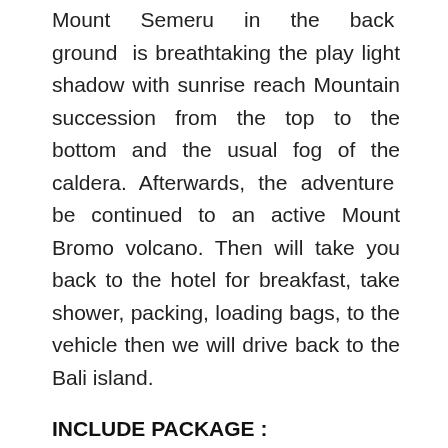Mount Semeru in the back ground is breathtaking the play light shadow with sunrise reach Mountain succession from the top to the bottom and the usual fog of the caldera. Afterwards, the adventure be continued to an active Mount Bromo volcano. Then will take you back to the hotel for breakfast, take shower, packing, loading bags, to the vehicle then we will drive back to the Bali island.
INCLUDE PACKAGE :
– Accommodation for 2 Nights
– Breakfast at Hotel